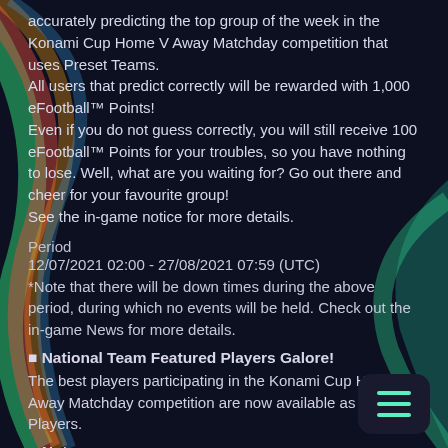accurately predicting the top group of the week in the Konami Cup Home V Away Matchday competition that uses Preset Teams. All users that predict correctly will be rewarded with 1,000 eFootball™ Points! Even if you do not guess correctly, you will still receive 100 eFootball™ Points for your troubles, so you have nothing to lose. Well, what are you waiting for? Go out there and cheer for your favourite group! See the in-game notice for more details.
Period
12/07/2021 02:00 - 27/08/2021 07:59 (UTC)
*Note that there will be down times during the above period, during which no events will be held. Check out the in-game News for more details.
■ National Team Featured Players Galore!
The best players participating in the Konami Cup Home V Away Matchday competition are now available as Featured Players.
■ Notes
*Rewards can be claimed from your Inbox...